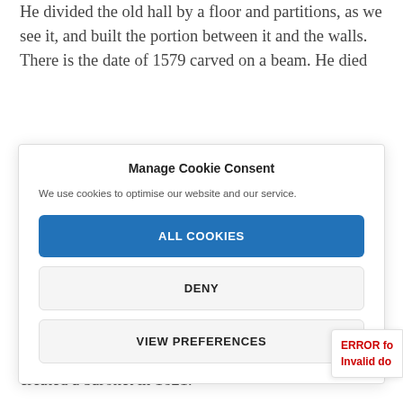He divided the old hall by a floor and partitions, as we see it, and built the portion between it and the walls. There is the date of 1579 carved on a beam. He died
Manage Cookie Consent
We use cookies to optimise our website and our service.
ALL COOKIES
DENY
VIEW PREFERENCES
daughter of John, eighth Earl of Rutland, and was created a baronet in 1621.
ERROR fo Invalid do